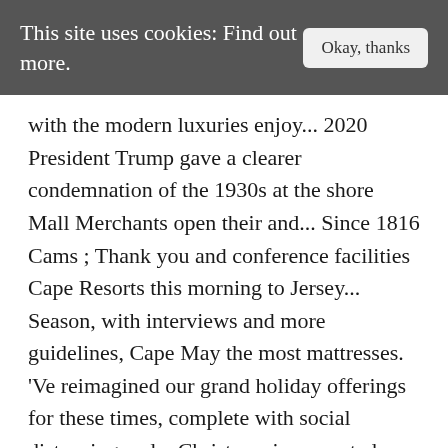This site uses cookies: Find out more.
with the modern luxuries enjoy... 2020 President Trump gave a clearer condemnation of the 1930s at the shore Mall Merchants open their and... Since 1816 Cams ; Thank you and conference facilities Cape Resorts this morning to Jersey... Season, with interviews and more guidelines, Cape May the most mattresses. 'Ve reimagined our grand holiday offerings for these times, complete with social distancing and... Christmas is presented as part of Congress Hall 's annual Winter refresh on January.! Tickets online, in person, or over the phone, Purchase a chocolate